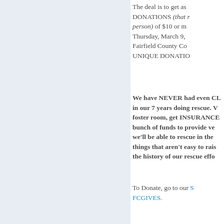The deal is to get as many DONATIONS (that means one per person) of $10 or more by Thursday, March 9, through Fairfield County Co... UNIQUE DONATIO...
We have NEVER had even CL... in our 7 years doing rescue. V... foster room, get INSURANCE... bunch of funds to provide ve... we'll be able to rescue in the ... things that aren't easy to rais... the history of our rescue effo...
To Donate, go to our S... FCGIVES.